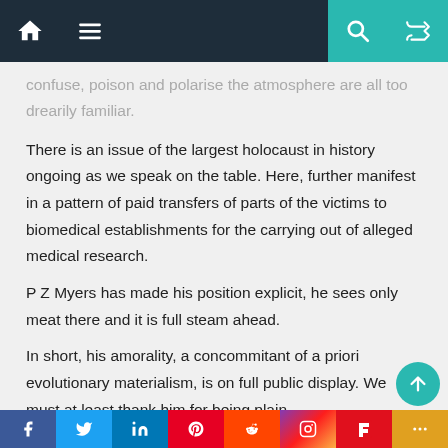[Navigation bar with home, menu, search, and shuffle icons]
confuse, poison and polarise the atmosphere are all too drearily familiar.
There is an issue of the largest holocaust in history ongoing as we speak on the table. Here, further manifest in a pattern of paid transfers of parts of the victims to biomedical establishments for the carrying out of alleged medical research.
P Z Myers has made his position explicit, he sees only meat there and it is full steam ahead.
In short, his amorality, a concommitant of a priori evolutionary materialism, is on full public display. We must at least thank him for being plain.
Social share bar: Facebook, Twitter, LinkedIn, Pinterest, Reddit, Instagram, Flipboard, More